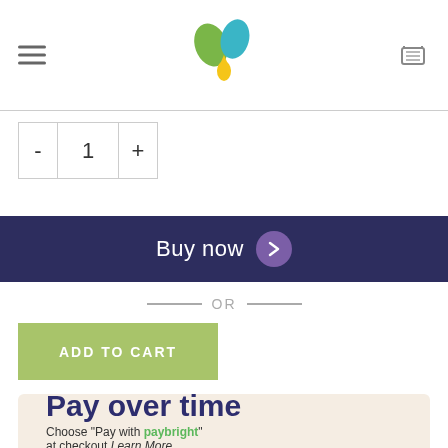[Figure (logo): Green plant/leaf logo with yellow drop, brand logo for natural health website]
[Figure (infographic): Quantity selector with minus button, number 1, plus button]
[Figure (infographic): Dark navy Buy now button with purple arrow chevron circle]
— OR —
[Figure (infographic): Green ADD TO CART button]
[Figure (infographic): Pay over time banner with paybright branding. Text: Pay over time. Choose Pay with paybright at checkout...]